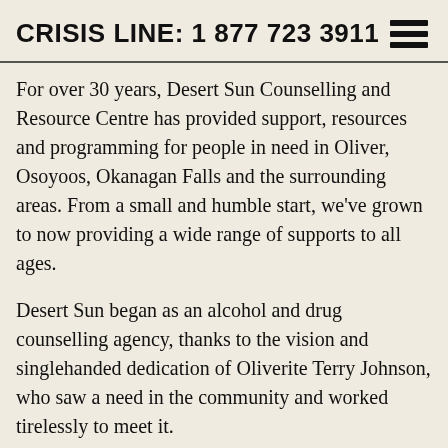CRISIS LINE: 1 877 723 3911
For over 30 years, Desert Sun Counselling and Resource Centre has provided support, resources and programming for people in need in Oliver, Osoyoos, Okanagan Falls and the surrounding areas. From a small and humble start, we've grown to now providing a wide range of supports to all ages.
Desert Sun began as an alcohol and drug counselling agency, thanks to the vision and singlehanded dedication of Oliverite Terry Johnson, who saw a need in the community and worked tirelessly to meet it.
In the early 2000s, Desert Sun passed the addiction counselling to the health...